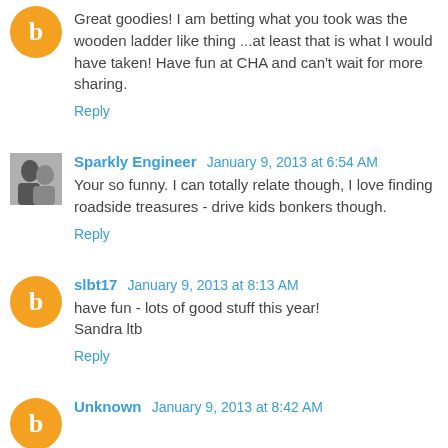[Figure (other): Blogger avatar orange circle with B letter]
Great goodies! I am betting what you took was the wooden ladder like thing ...at least that is what I would have taken! Have fun at CHA and can't wait for more sharing.
Reply
[Figure (photo): Profile photo of Sparkly Engineer]
Sparkly Engineer January 9, 2013 at 6:54 AM
Your so funny. I can totally relate though, I love finding roadside treasures - drive kids bonkers though.
Reply
[Figure (other): Blogger avatar orange circle with B letter]
slbt17 January 9, 2013 at 8:13 AM
have fun - lots of good stuff this year!
Sandra ltb
Reply
[Figure (other): Blogger avatar orange circle with B letter]
Unknown January 9, 2013 at 8:42 AM